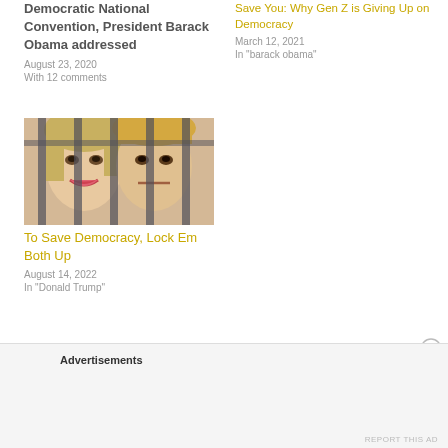Democratic National Convention, President Barack Obama addressed
August 23, 2020
With 12 comments
Save You: Why Gen Z is Giving Up on Democracy
March 12, 2021
In "barack obama"
[Figure (photo): Two faces behind prison bars — woman on left smiling, man on right looking serious]
To Save Democracy, Lock Em Both Up
August 14, 2022
In "Donald Trump"
Advertisements
REPORT THIS AD